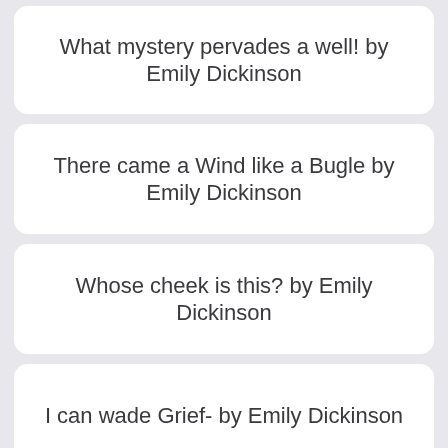What mystery pervades a well! by Emily Dickinson
There came a Wind like a Bugle by Emily Dickinson
Whose cheek is this? by Emily Dickinson
I can wade Grief- by Emily Dickinson